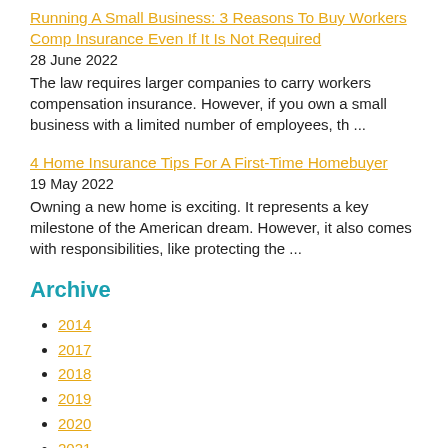Running A Small Business: 3 Reasons To Buy Workers Comp Insurance Even If It Is Not Required
28 June 2022
The law requires larger companies to carry workers compensation insurance. However, if you own a small business with a limited number of employees, th ...
4 Home Insurance Tips For A First-Time Homebuyer
19 May 2022
Owning a new home is exciting. It represents a key milestone of the American dream. However, it also comes with responsibilities, like protecting the ...
Archive
2014
2017
2018
2019
2020
2021
2022